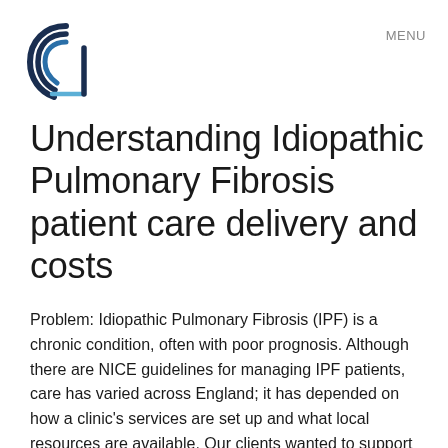MENU
[Figure (logo): Circular spiral logo with dark blue and light blue arcs, resembling the letter 'a']
Understanding Idiopathic Pulmonary Fibrosis patient care delivery and costs
Problem: Idiopathic Pulmonary Fibrosis (IPF) is a chronic condition, often with poor prognosis. Although there are NICE guidelines for managing IPF patients, care has varied across England; it has depended on how a clinic's services are set up and what local resources are available. Our clients wanted to support local specialist centres as they document how their clinics managed IPF patients, how local pathways